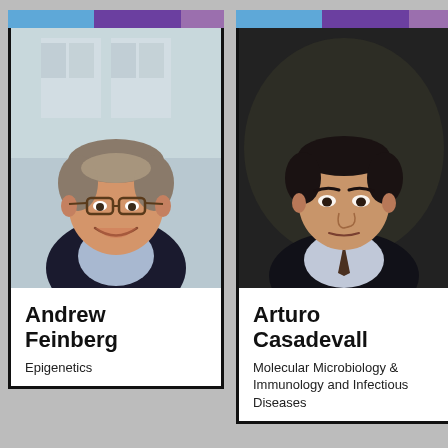[Figure (photo): Headshot of Andrew Feinberg, a middle-aged smiling man with glasses and graying hair, wearing a dark suit and light blue shirt, photographed in front of a blurred window background.]
Andrew Feinberg
Epigenetics
[Figure (photo): Headshot of Arturo Casadevall, a serious-looking middle-aged man with short dark hair, wearing a dark suit and tie, photographed against a dark background.]
Arturo Casadevall
Molecular Microbiology & Immunology and Infectious Diseases